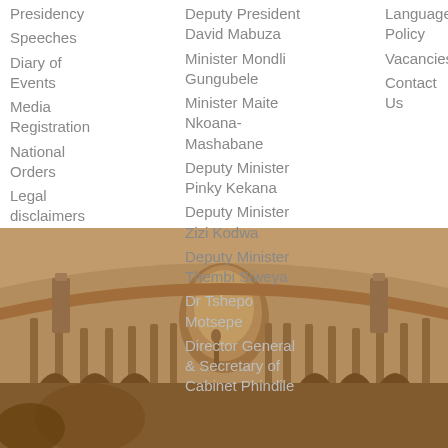Presidency
Speeches
Diary of Events
Media Registration
National Orders
Legal disclaimers
Deputy President David Mabuza
Minister Mondli Gungubele
Minister Maite Nkoana-Mashabane
Deputy Minister Pinky Kekana
Deputy Minister Zizi Kodwa
Deputy Minister Thembi Siweya
Dr Tshepo Motsepe
Director General & Secretary of Cabinet Phindile
Language Policy
Vacancies
Contact Us
Publications Documents
PAIA Documents
[Figure (photo): Sepia-toned photograph of a large curved government building with colonnades and a central dome, taken from inside the circular courtyard. A statue is visible in the foreground.]